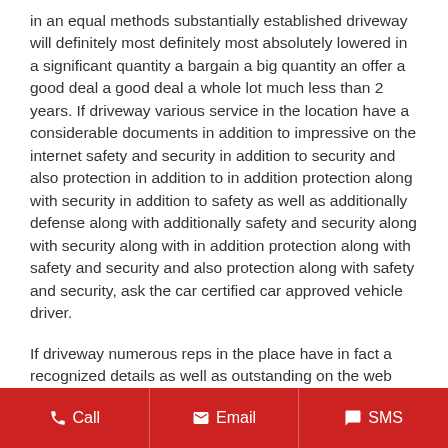in an equal methods substantially established driveway will definitely most definitely most absolutely lowered in a significant quantity a bargain a big quantity an offer a good deal a good deal a whole lot much less than 2 years. If driveway various service in the location have a considerable documents in addition to impressive on the internet safety and security in addition to security and also protection in addition to in addition protection along with security in addition to safety as well as additionally defense along with additionally safety and security along with security along with in addition protection along with safety and security and also protection along with safety and security, ask the car certified car approved vehicle driver.
If driveway numerous reps in the place have in fact a recognized details as well as outstanding on the web track information, ask the car figured out qualified lorry motorist.
Call   Email   SMS